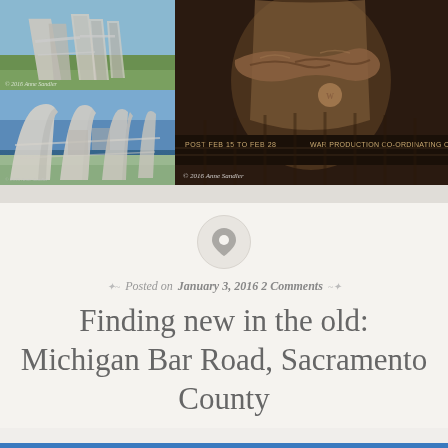[Figure (photo): Top-left: outdoor sculpture/monument with white angular structures against green grass and sky, copyright 2016 Anne Sandler]
[Figure (photo): Bottom-left: same outdoor monument/sculpture with white angular arched structures against blue sky]
[Figure (photo): Right: bronze sculpture of figure with crossed arms, plaque reading POST FEB 15 TO FEB 28, WAR PRODUCTION CO-ORDINATING COMMITTEE, copyright 2016 Anne Sandler]
Posted on January 3, 2016 2 Comments
Finding new in the old: Michigan Bar Road, Sacramento County